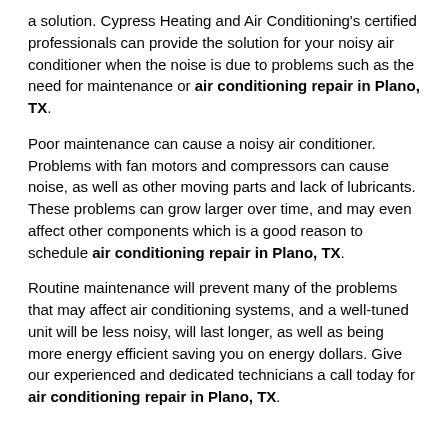a solution. Cypress Heating and Air Conditioning's certified professionals can provide the solution for your noisy air conditioner when the noise is due to problems such as the need for maintenance or air conditioning repair in Plano, TX.
Poor maintenance can cause a noisy air conditioner. Problems with fan motors and compressors can cause noise, as well as other moving parts and lack of lubricants. These problems can grow larger over time, and may even affect other components which is a good reason to schedule air conditioning repair in Plano, TX.
Routine maintenance will prevent many of the problems that may affect air conditioning systems, and a well-tuned unit will be less noisy, will last longer, as well as being more energy efficient saving you on energy dollars. Give our experienced and dedicated technicians a call today for air conditioning repair in Plano, TX.